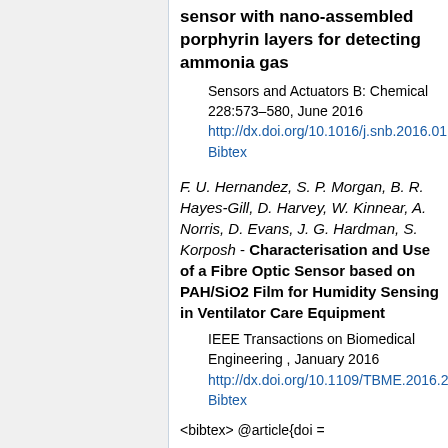sensor with nano-assembled porphyrin layers for detecting ammonia gas
Sensors and Actuators B: Chemical 228:573–580, June 2016
http://dx.doi.org/10.1016/j.snb.2016.01.0
Bibtex
F. U. Hernandez, S. P. Morgan, B. R. Hayes-Gill, D. Harvey, W. Kinnear, A. Norris, D. Evans, J. G. Hardman, S. Korposh - Characterisation and Use of a Fibre Optic Sensor based on PAH/SiO2 Film for Humidity Sensing in Ventilator Care Equipment
IEEE Transactions on Biomedical Engineering , January 2016
http://dx.doi.org/10.1109/TBME.2016.25
Bibtex
<bibtex> @article{doi =